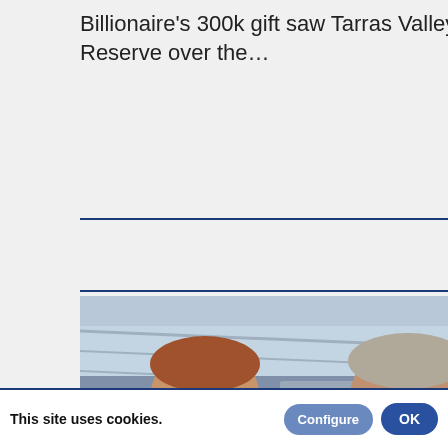Billionaire's 300k gift saw Tarras Valley Nature Reserve over the…
[Figure (photo): Two men standing in front of what appears to be a train or modern building with a glass roof structure. The man on the left wears a dark suit with a red tie; he has a beard and glasses. The man on the right wears a blue puffer jacket with a purple tie and glasses. Both have serious expressions.]
Textile team gears up for more community workshops The Langholm-based…
This site uses cookies.